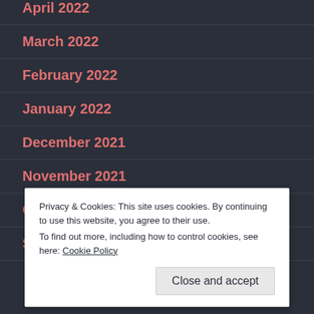April 2022
March 2022
February 2022
January 2022
December 2021
November 2021
October 2021
September 2021
Privacy & Cookies: This site uses cookies. By continuing to use this website, you agree to their use.
To find out more, including how to control cookies, see here: Cookie Policy